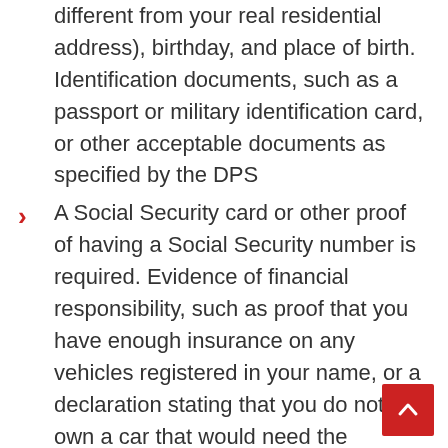different from your real residential address), birthday, and place of birth. Identification documents, such as a passport or military identification card, or other acceptable documents as specified by the DPS
A Social Security card or other proof of having a Social Security number is required. Evidence of financial responsibility, such as proof that you have enough insurance on any vehicles registered in your name, or a declaration stating that you do not own a car that would need the purchase of insurance